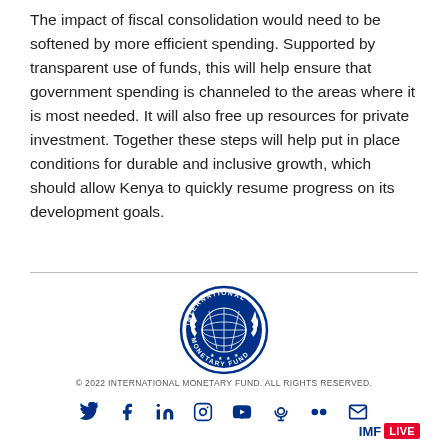The impact of fiscal consolidation would need to be softened by more efficient spending. Supported by transparent use of funds, this will help ensure that government spending is channeled to the areas where it is most needed. It will also free up resources for private investment. Together these steps will help put in place conditions for durable and inclusive growth, which should allow Kenya to quickly resume progress on its development goals.
[Figure (logo): International Monetary Fund circular logo in blue, showing a globe with laurel branches and stars, with text 'INTERNATIONAL MONETARY FUND' around the border]
© 2022 INTERNATIONAL MONETARY FUND. ALL RIGHTS RESERVED.
Social media icons: Twitter, Facebook, LinkedIn, Instagram, YouTube, Podcast, Flickr, Email. IMF LIVE logo.